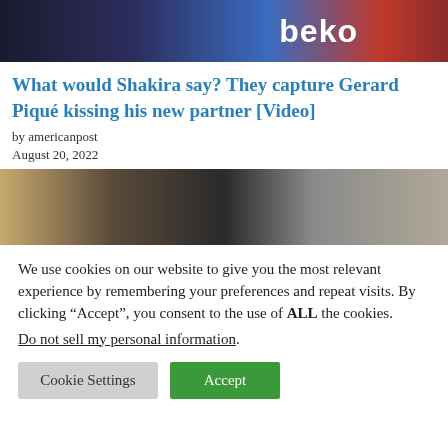[Figure (photo): Top portion of an image showing a Barcelona FC jersey with the Beko sponsor logo visible in white text on blue background]
What would Shakira say? They capture Gerard Piqué kissing his new partner [Video]
by americanpost
August 20, 2022
[Figure (photo): Partial image showing blurred indoor scene with gold/bronze and dark elements]
We use cookies on our website to give you the most relevant experience by remembering your preferences and repeat visits. By clicking “Accept”, you consent to the use of ALL the cookies.
Do not sell my personal information.
Cookie Settings
Accept